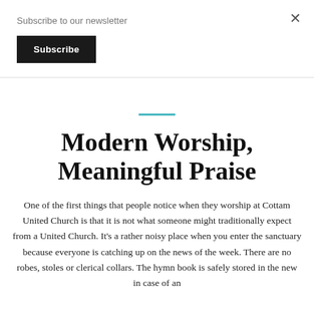Subscribe to our newsletter
×
Subscribe
Modern Worship, Meaningful Praise
One of the first things that people notice when they worship at Cottam United Church is that it is not what someone might traditionally expect from a United Church. It's a rather noisy place when you enter the sanctuary because everyone is catching up on the news of the week. There are no robes, stoles or clerical collars. The hymn book is safely stored in the new in case of an